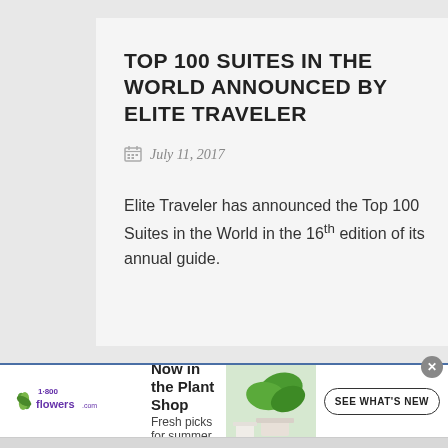TOP 100 SUITES IN THE WORLD ANNOUNCED BY ELITE TRAVELER
July 11, 2017
Elite Traveler has announced the Top 100 Suites in the World in the 16th edition of its annual guide.
[Figure (infographic): 1-800-Flowers.com advertisement banner: logo on left, text 'Now in the Plant Shop / Fresh picks for summer', plant photo in center-right, 'SEE WHAT'S NEW' button on right]